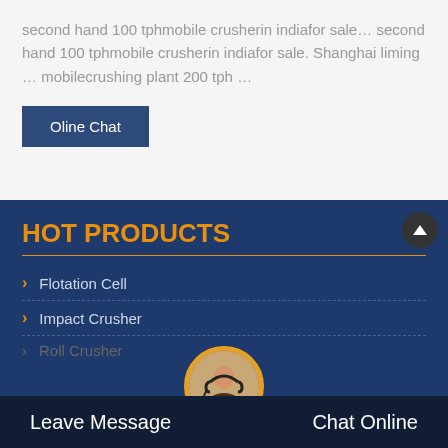second hand 100 tphmobile crusherin indiafor sale… second hand 100 tphmobile crusherin indiafor sale. Shanghai liming … mobilecrushing plant 200 tph …
Oline Chat
HOT PRODUCTS
Flotation Cell
Impact Crusher
Roll Crusher
Leave Message
Chat Online